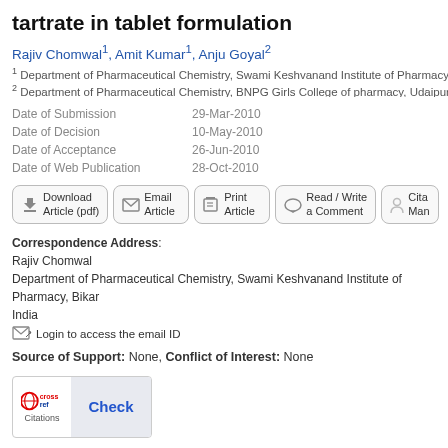tartrate in tablet formulation
Rajiv Chomwal1, Amit Kumar1, Anju Goyal2
1 Department of Pharmaceutical Chemistry, Swami Keshvanand Institute of Pharmacy, Bika...
2 Department of Pharmaceutical Chemistry, BNPG Girls College of pharmacy, Udaipur, Raj...
Date of Submission   29-Mar-2010
Date of Decision   10-May-2010
Date of Acceptance   26-Jun-2010
Date of Web Publication   28-Oct-2010
[Figure (other): Action buttons: Download Article (pdf), Email Article, Print Article, Read/Write a Comment, Cite/Manage]
Correspondence Address:
Rajiv Chomwal
Department of Pharmaceutical Chemistry, Swami Keshvanand Institute of Pharmacy, Bikar...
India
Login to access the email ID
Source of Support: None, Conflict of Interest: None
[Figure (logo): CrossRef Citations Check button]